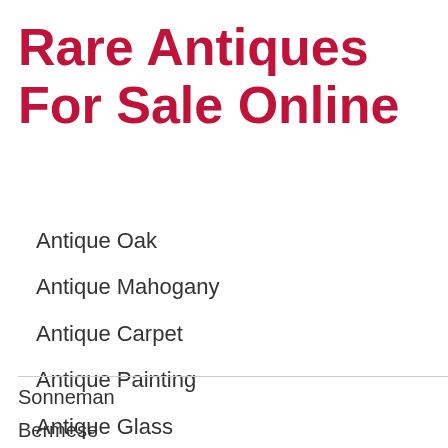Rare Antiques For Sale Online
Antique Oak
Antique Mahogany
Antique Carpet
Antique Painting
Antique Glass
Antique Plate
Sonneman
Bermese
Dragon Zippo